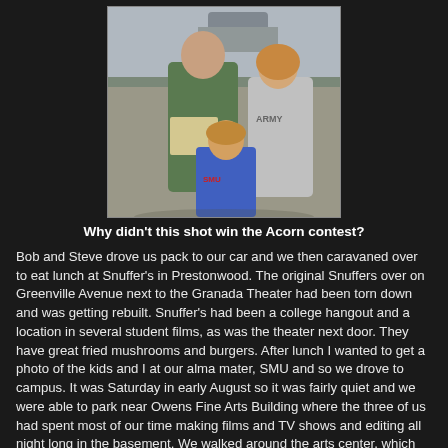[Figure (photo): Three people posing outdoors: an adult man holding what appears to be a newspaper or magazine, a teenage girl wearing an Army t-shirt, and a young boy wearing a blue SMU shirt. They are standing on a sidewalk or parking area.]
Why didn't this shot win the Acorn contest?
Bob and Steve drove us pack to our car and we then caravaned over to eat lunch at Snuffer's in Prestonwood.  The original Snuffers over on Greenville Avenue next to the Granada Theater had been torn down and was getting rebuilt.  Snuffer's had been a college hangout and a location in several student films, as was the theater next door.  They have great fried mushrooms and burgers.  After lunch I wanted to get a photo of the kids and I at our alma mater, SMU and so we drove to campus.  It was Saturday in early August so it was fairly quiet and we were able to park near Owens Fine Arts Building where the three of us had spent most of our time making films and TV shows and editing all night long in the basement.  We walked around the arts center, which has been expanded and renovated over the years.  They added the Greer